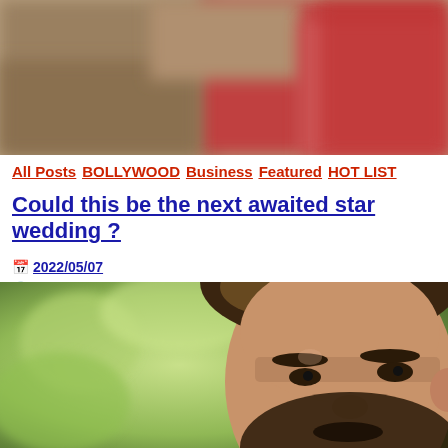[Figure (photo): Blurred close-up photo showing reddish and warm-toned background, likely people at a social event]
All Posts  BOLLYWOOD  Business  Featured  HOT LIST
Could this be the next awaited star wedding ?
2022/05/07
2 Minutes
[Figure (photo): Close-up portrait of a young bearded man with short dark hair, outdoors with blurred green foliage background]